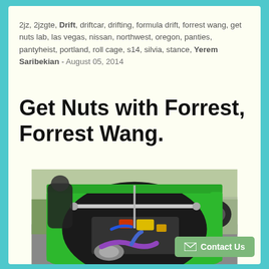2jz, 2jzgte, Drift, driftcar, drifting, formula drift, forrest wang, get nuts lab, las vegas, nissan, northwest, oregon, panties, pantyheist, portland, roll cage, s14, silvia, stance, Yerem Saribekian - August 05, 2014
Get Nuts with Forrest, Forrest Wang.
[Figure (photo): Overhead view of a bright green Nissan S14 Silvia with the hood open, revealing a 2JZ engine with colorful components. A person in dark clothing leans over the engine bay. Background shows a parking lot with tires and a chain-link fence.]